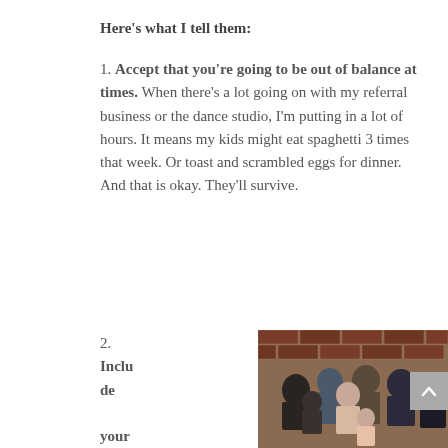Here's what I tell them:
1. Accept that you're going to be out of balance at times. When there's a lot going on with my referral business or the dance studio, I'm putting in a lot of hours. It means my kids might eat spaghetti 3 times that week. Or toast and scrambled eggs for dinner. And that is okay. They'll survive.
2. Include your kids. Let your kids
[Figure (photo): Family group photo of approximately 7-8 people of various ages standing in front of a brick wall]